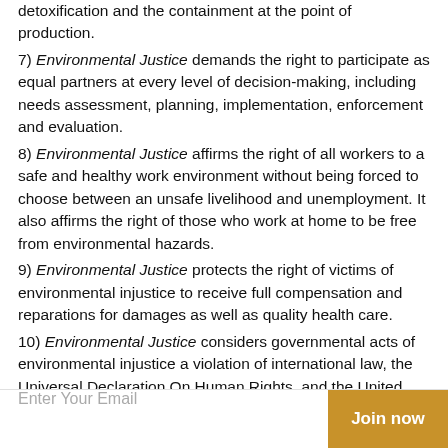detoxification and the containment at the point of production.
7) Environmental Justice demands the right to participate as equal partners at every level of decision-making, including needs assessment, planning, implementation, enforcement and evaluation.
8) Environmental Justice affirms the right of all workers to a safe and healthy work environment without being forced to choose between an unsafe livelihood and unemployment. It also affirms the right of those who work at home to be free from environmental hazards.
9) Environmental Justice protects the right of victims of environmental injustice to receive full compensation and reparations for damages as well as quality health care.
10) Environmental Justice considers governmental acts of environmental injustice a violation of international law, the Universal Declaration On Human Rights, and the United Nations Convention on Genocide.